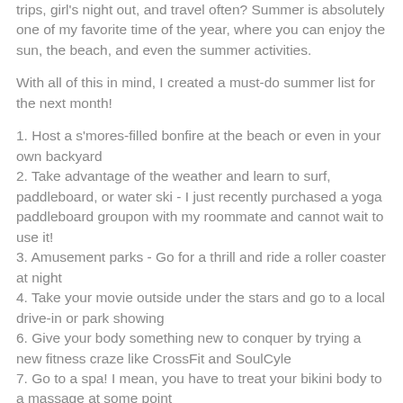trips, girl's night out, and travel often? Summer is absolutely one of my favorite time of the year, where you can enjoy the sun, the beach, and even the summer activities.
With all of this in mind, I created a must-do summer list for the next month!
1. Host a s'mores-filled bonfire at the beach or even in your own backyard
2. Take advantage of the weather and learn to surf, paddleboard, or water ski - I just recently purchased a yoga paddleboard groupon with my roommate and cannot wait to use it!
3. Amusement parks - Go for a thrill and ride a roller coaster at night
4. Take your movie outside under the stars and go to a local drive-in or park showing
6. Give your body something new to conquer by trying a new fitness craze like CrossFit and SoulCyle
7. Go to a spa! I mean, you have to treat your bikini body to a massage at some point
8. Invite some friends over for a home-cooked meal, and